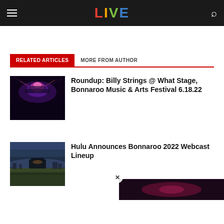LIVE
RELATED ARTICLES | MORE FROM AUTHOR
[Figure (photo): Concert crowd at night with colorful stage lighting at Bonnaroo]
Roundup: Billy Strings @ What Stage, Bonnaroo Music & Arts Festival 6.18.22
[Figure (photo): Aerial view of festival grounds at Bonnaroo at dusk]
Hulu Announces Bonnaroo 2022 Webcast Lineup